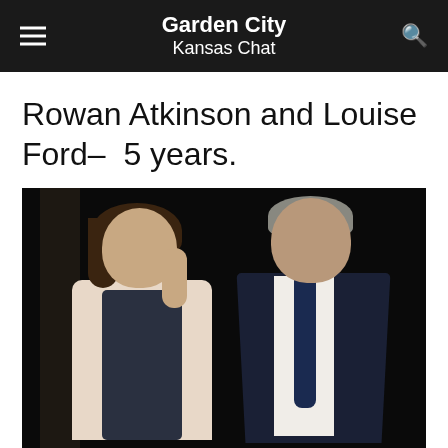Garden City Kansas Chat
Rowan Atkinson and Louise Ford– 5 years.
[Figure (photo): Rowan Atkinson and Louise Ford walking together. A woman with dark hair wearing a white blazer over a dark top is on the left, looking down with her hand near her face. A man in a dark suit with a navy tie is on the right, looking forward. Dark background suggesting an indoor or nighttime setting.]